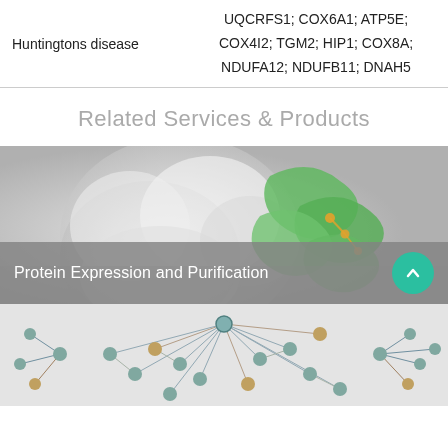| Disease | Genes |
| --- | --- |
| Huntingtons disease | UQCRFS1; COX6A1; ATP5E; COX4I2; TGM2; HIP1; COX8A; NDUFA12; NDUFB11; DNAH5 |
Related Services & Products
[Figure (photo): 3D molecular/protein structure illustration showing white surface protein and green ribbon helix structure]
Protein Expression and Purification
[Figure (illustration): Network graph illustration with nodes and edges representing molecular interactions]